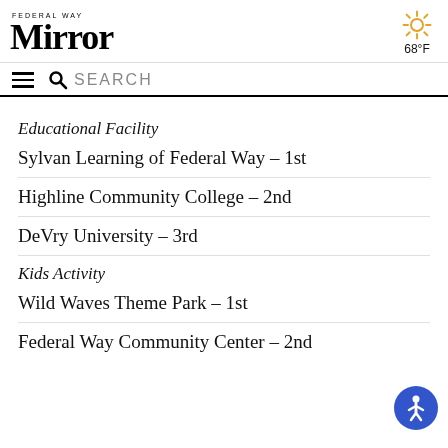Federal Way Mirror
68°F
Educational Facility
Sylvan Learning of Federal Way – 1st
Highline Community College – 2nd
DeVry University – 3rd
Kids Activity
Wild Waves Theme Park – 1st
Federal Way Community Center – 2nd